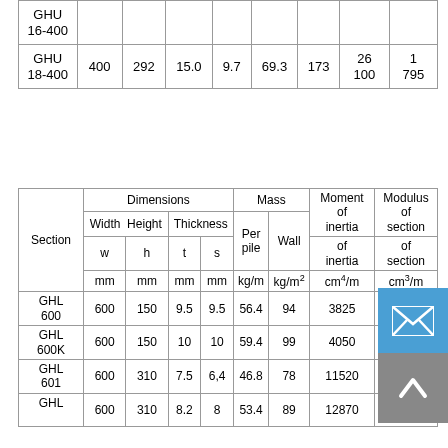| GHU 16-400 |  |  |  |  |  |  |  |  |
| GHU 18-400 | 400 | 292 | 15.0 | 9.7 | 69.3 | 173 | 26 100 | 1 795 |
| Section | Width w mm | Height h mm | Thickness t mm | Thickness s mm | Per pile kg/m | Wall kg/m² | Moment of inertia cm⁴/m | Modulus of section cm³/m |
| --- | --- | --- | --- | --- | --- | --- | --- | --- |
| GHL 600 | 600 | 150 | 9.5 | 9.5 | 56.4 | 94 | 3825 | 51… |
| GHL 600K | 600 | 150 | 10 | 10 | 59.4 | 99 | 4050 | 540 |
| GHL 601 | 600 | 310 | 7.5 | 6,4 | 46.8 | 78 | 11520 | 74… |
| GHL … | 600 | 310 | 8.2 | 8 | 53.4 | 89 | 12870 | 830 |